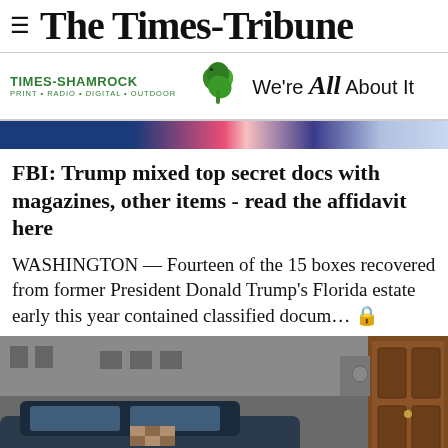The Times-Tribune
[Figure (logo): Times-Shamrock logo with shamrock graphic and tagline: PRINT · RADIO · DIGITAL · OUTDOOR. We're All About It]
[Figure (photo): Cropped photo strip showing flags or colored background in blue, pink/red, and blue tones]
FBI: Trump mixed top secret docs with magazines, other items - read the affidavit here
WASHINGTON — Fourteen of the 15 boxes recovered from former President Donald Trump's Florida estate early this year contained classified docum… 🔒
[Figure (photo): Bottom photo showing a dark street scene with a car in foreground and a wooden door on the right side of a building]